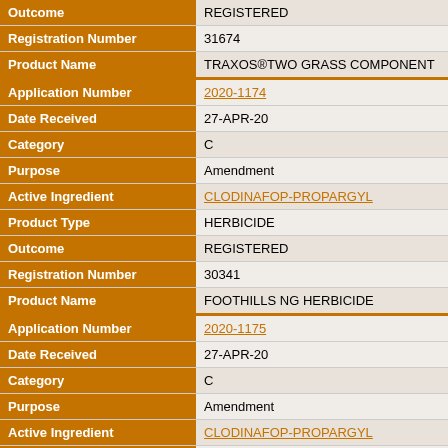| Field | Value |
| --- | --- |
| Outcome | REGISTERED |
| Registration Number | 31674 |
| Product Name | TRAXOS®TWO GRASS COMPONENT |
| Application Number | 2020-1174 |
| Date Received | 27-APR-20 |
| Category | C |
| Purpose | Amendment |
| Active Ingredient | CLODINAFOP-PROPARGYL |
| Product Type | HERBICIDE |
| Outcome | REGISTERED |
| Registration Number | 30341 |
| Product Name | FOOTHILLS NG HERBICIDE |
| Application Number | 2020-1175 |
| Date Received | 27-APR-20 |
| Category | C |
| Purpose | Amendment |
| Active Ingredient | CLODINAFOP-PROPARGYL |
| Product Type | HERBICIDE |
| Outcome | REGISTERED |
| Registration Number | 29089 |
| Product Name | HORIZON NG HERBICIDE |
| Application Number | 2020-1176 |